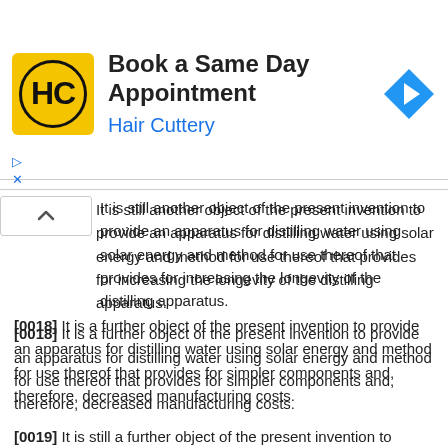[Figure (infographic): Advertisement banner for Hair Cuttery: yellow square logo with HC in circle, text 'Book a Same Day Appointment' and 'Hair Cuttery' in blue, blue diamond navigation arrow icon on right.]
It is still another object of the present invention to provide an apparatus for distilling water using solar energy and method for use thereof that provides for increasing the longevity of the distilling apparatus.
[0018] It is a further object of the present invention to provide an apparatus for distilling water using solar energy and method for use thereof that provides for simpler components and, therefore, decreased manufacturing costs.
[0019] It is still a further object of the present invention to provide an apparatus for distilling water using solar energy and method for use thereof that discourages the growth of organisms in the apparatus.
[0020] It is yet a further object of the present invention to provide an apparatus for distilling water using solar energy and method for use thereof that provides for storing the water for use while discouraging the growth of organisms in the water.
[0021] It is still another object of the present invention to provide an apparatus for distilling water using solar energy and method for use thereof